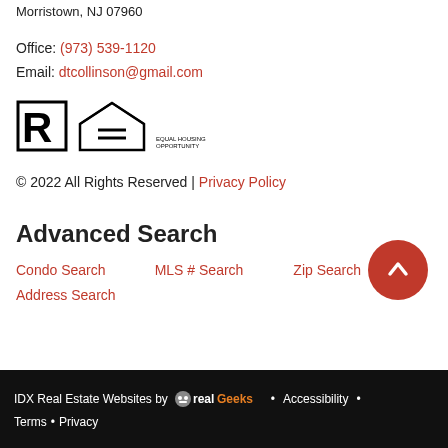Morristown, NJ 07960
Office: (973) 539-1120
Email: dtcollinson@gmail.com
[Figure (logo): Realtor R logo and Equal Housing Opportunity logo]
© 2022 All Rights Reserved | Privacy Policy
Advanced Search
Condo Search   MLS # Search   Zip Search
Address Search
IDX Real Estate Websites by RealGeeks • Accessibility • Terms • Privacy